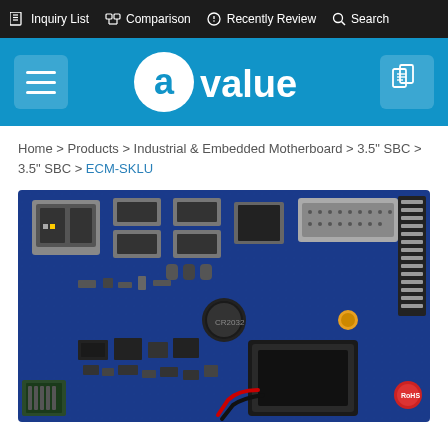Inquiry List  Comparison  Recently Review  Search
[Figure (logo): Avalue company logo in white on blue background]
Home > Products > Industrial & Embedded Motherboard > 3.5" SBC > 3.5" SBC > ECM-SKLU
[Figure (photo): ECM-SKLU 3.5-inch single board computer (SBC) product photo showing blue PCB with various connectors including Ethernet, USB, HDMI, and serial ports, along with Intel processor and various components]